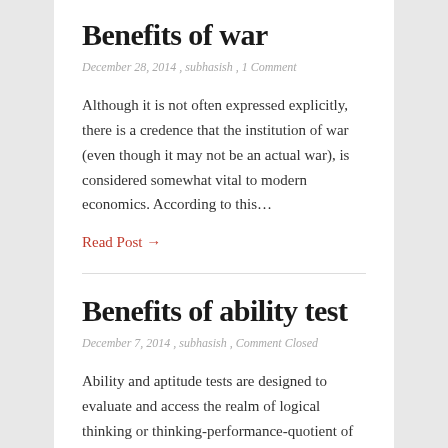Benefits of war
December 28, 2014 , subhasish , 1 Comment
Although it is not often expressed explicitly, there is a credence that the institution of war (even though it may not be an actual war), is considered somewhat vital to modern economics. According to this&hellip;
Read Post →
Benefits of ability test
December 7, 2014 , subhasish , Comment Closed
Ability and aptitude tests are designed to evaluate and access the realm of logical thinking or thinking-performance-quotient of us in real life. The ability test consists of multiple choice questions and are done